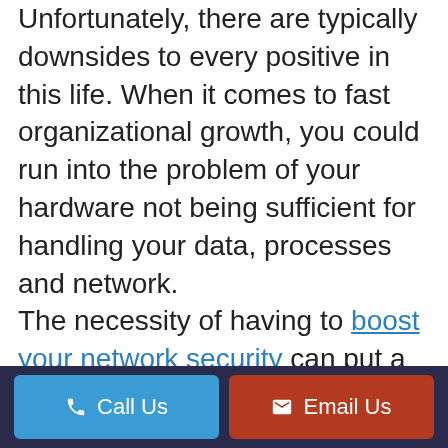good thing in any organization. Unfortunately, there are typically downsides to every positive in this life. When it comes to fast organizational growth, you could run into the problem of your hardware not being sufficient for handling your data, processes and network.

The necessity of having to boost your network security can put a strain on your system all on its own. When you
Call Us   Email Us